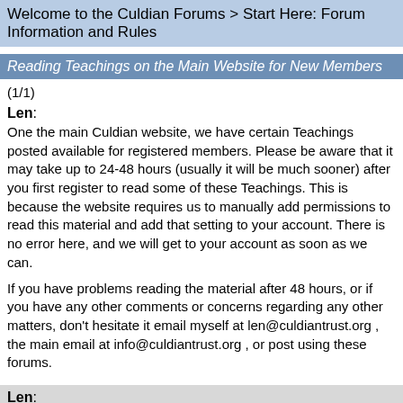Welcome to the Culdian Forums > Start Here: Forum Information and Rules
Reading Teachings on the Main Website for New Members
(1/1)
Len: One the main Culdian website, we have certain Teachings posted available for registered members. Please be aware that it may take up to 24-48 hours (usually it will be much sooner) after you first register to read some of these Teachings. This is because the website requires us to manually add permissions to read this material and add that setting to your account. There is no error here, and we will get to your account as soon as we can.

If you have problems reading the material after 48 hours, or if you have any other comments or concerns regarding any other matters, don't hesitate it email myself at len@culdiantrust.org , the main email at info@culdiantrust.org , or post using these forums.
Len: New Teachings are being rotated on a continual basis. Announcements of new Teachings being put up on the main website are announced on the "News and Announcements" board.